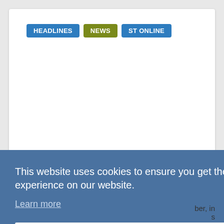HEADLINES  NEWS  ST ONLINE
This website uses cookies to ensure you get the best experience on our website.
Learn more
Got it!
ber, in